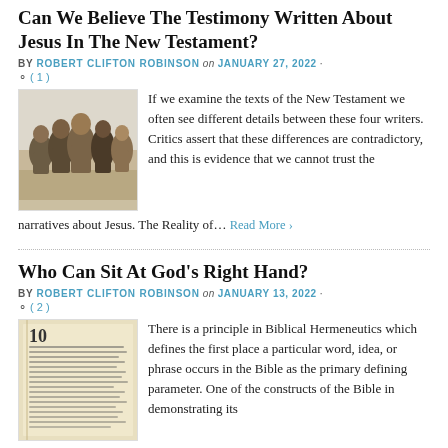Can We Believe The Testimony Written About Jesus In The New Testament?
BY ROBERT CLIFTON ROBINSON on JANUARY 27, 2022 · ☺ ( 1 )
[Figure (photo): Group of people in biblical robes, resembling disciples or apostles walking together]
If we examine the texts of the New Testament we often see different details between these four writers. Critics assert that these differences are contradictory, and this is evidence that we cannot trust the narratives about Jesus. The Reality of... Read More ›
Who Can Sit At God's Right Hand?
BY ROBERT CLIFTON ROBINSON on JANUARY 13, 2022 · ☺ ( 2 )
[Figure (photo): Open Bible page showing chapter 10, dense text on aged paper]
There is a principle in Biblical Hermeneutics which defines the first place a particular word, idea, or phrase occurs in the Bible as the primary defining parameter. One of the constructs of the Bible in demonstrating its supernatural structure, is... Read More ›